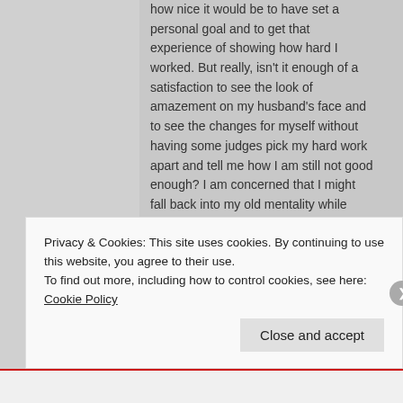how nice it would be to have set a personal goal and to get that experience of showing how hard I worked. But really, isn't it enough of a satisfaction to see the look of amazement on my husband's face and to see the changes for myself without having some judges pick my hard work apart and tell me how I am still not good enough? I am concerned that I might fall back into my old mentality while struggling with the eating disorder. I needed to hear what you had to say. I'm still planning on being in the best shape of my life (35 by my next birthday in January) and I think that is enough of a success story for me. 😀 Blessings to you!
Privacy & Cookies: This site uses cookies. By continuing to use this website, you agree to their use.
To find out more, including how to control cookies, see here: Cookie Policy
Close and accept